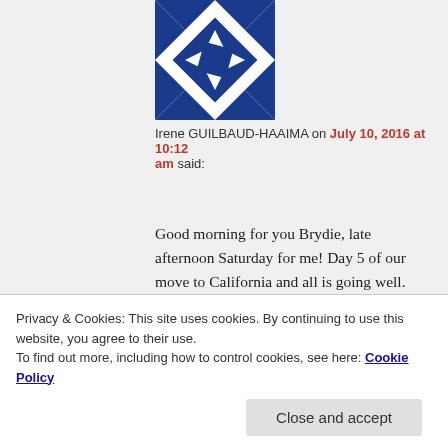[Figure (illustration): Blue and white geometric quilt-pattern square avatar image]
Irene GUILBAUD-HAAIMA on July 10, 2016 at 10:12 am said:
Good morning for you Brydie, late afternoon Saturday for me! Day 5 of our move to California and all is going well. The hunt for a house is on so that is having my full attention at the moment. That and still making things fun for the girls even if spending time queueing and waiting at the social security administration building for example is not....
But it's summer here and the longer days and
Privacy & Cookies: This site uses cookies. By continuing to use this website, you agree to their use.
To find out more, including how to control cookies, see here: Cookie Policy
Close and accept